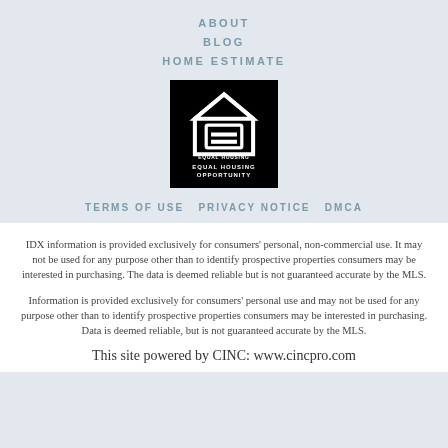ABOUT
BLOG
HOME ESTIMATE
[Figure (logo): Equal Housing Opportunity logo — white house outline with equal sign on black square background, text reads EQUAL HOUSING OPPORTUNITY]
TERMS OF USE PRIVACY NOTICE DMCA
IDX information is provided exclusively for consumers' personal, non-commercial use. It may not be used for any purpose other than to identify prospective properties consumers may be interested in purchasing. The data is deemed reliable but is not guaranteed accurate by the MLS.
Information is provided exclusively for consumers' personal use and may not be used for any purpose other than to identify prospective properties consumers may be interested in purchasing. Data is deemed reliable, but is not guaranteed accurate by the MLS.
This site powered by CINC: www.cincpro.com